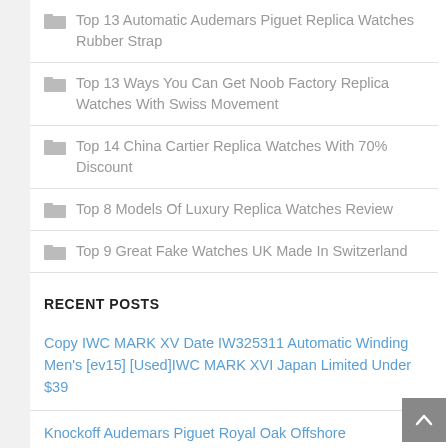Top 13 Automatic Audemars Piguet Replica Watches Rubber Strap
Top 13 Ways You Can Get Noob Factory Replica Watches With Swiss Movement
Top 14 China Cartier Replica Watches With 70% Discount
Top 8 Models Of Luxury Replica Watches Review
Top 9 Great Fake Watches UK Made In Switzerland
RECENT POSTS
Copy IWC MARK XV Date IW325311 Automatic Winding Men's [ev15] [Used]IWC MARK XVI Japan Limited Under $39
Knockoff Audemars Piguet Royal Oak Offshore